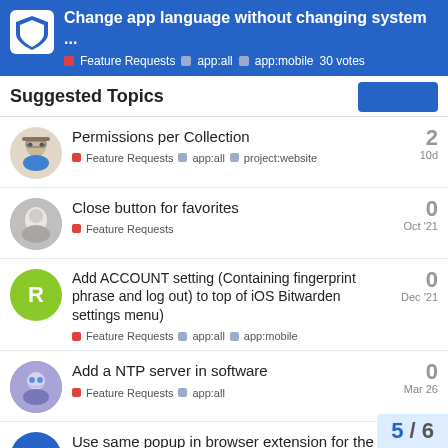Change app language without changing system ... | Feature Requests | app:all | app:mobile | 30 votes
Suggested Topics
Permissions per Collection | Feature Requests | app:all | project:website | 2 replies | 10d
Close button for favorites | Feature Requests | 0 replies | Oct '21
Add ACCOUNT setting (Containing fingerprint phrase and log out) to top of iOS Bitwarden settings menu) | Feature Requests | app:all | app:mobile | 0 replies | Dec '21
Add a NTP server in software | Feature Requests | app:all | 0 replies | Mar 26
Use same popup in browser extension for the system tray
5 / 6